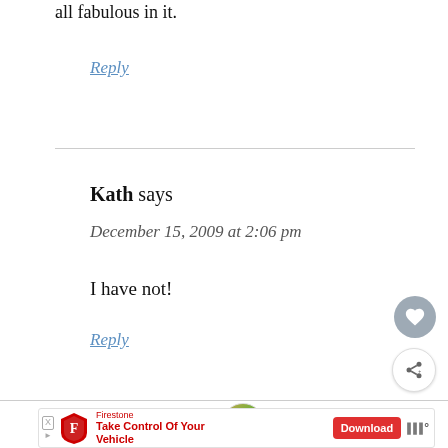all fabulous in it.
Reply
Kath says
December 15, 2009 at 2:06 pm
I have not!
Reply
[Figure (other): What's Next promo widget showing a food bowl image with text 'WHAT'S NEXT → Winter In July']
[Figure (other): Firestone advertisement: 'Take Control Of Your Vehicle' with Download button and weather widget]